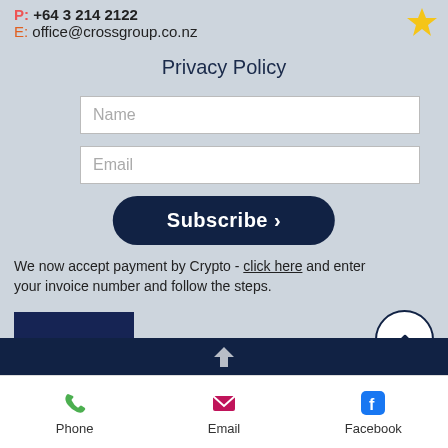P: +64 3 214 2122
E: office@crossgroup.co.nz
Privacy Policy
Name
Email
Subscribe >
We now accept payment by Crypto - click here and enter your invoice number and follow the steps.
[Figure (logo): BitPay logo - dark navy rectangle with italic bold white text 'bitpay']
[Figure (other): Scroll to top button - white circle with navy chevron pointing up]
Phone   Email   Facebook